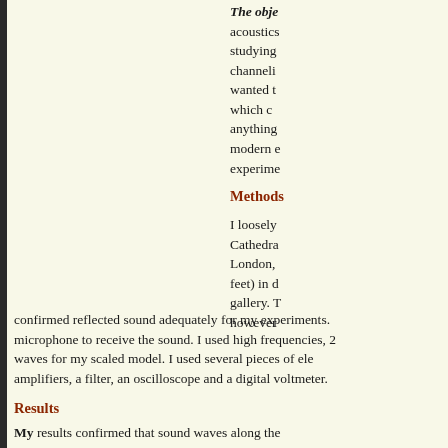The obj... acoustics studying channeli... wanted t... which c... anything modern e... experime...
Methods
I loosely Cathedral London, feet) in d... gallery. T... however confirmed reflected sound adequately for my experiments. microphone to receive the sound. I used high frequencies, 2... waves for my scaled model. I used several pieces of ele... amplifiers, a filter, an oscilloscope and a digital voltmeter.
Results
My results confirmed that...